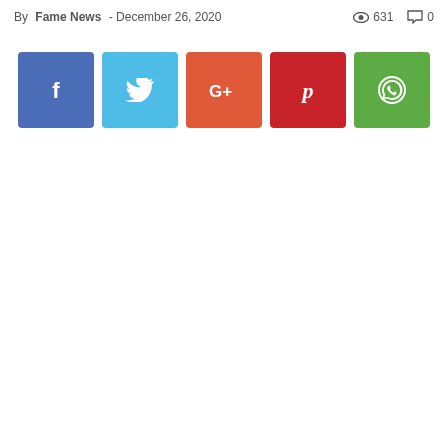By Fame News - December 26, 2020  👁 631  💬 0
[Figure (infographic): Row of five social media share buttons: Facebook (blue), Twitter (light blue), Google+ (orange-red), Pinterest (red), WhatsApp (green), each as a square icon button.]